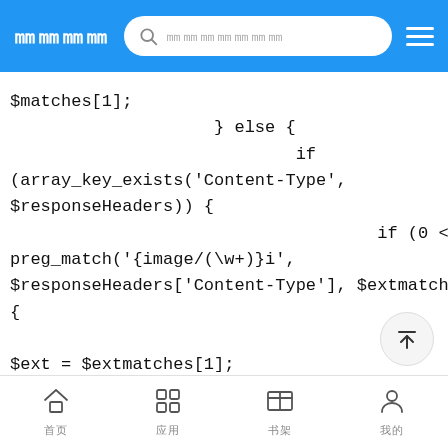页面 (search bar) menu
$matches[1];
                    } else {
                            if
(array_key_exists('Content-Type',
$responseHeaders)) {
                                    if (0 <
preg_match('{image/(\w+)}i',
$responseHeaders['Content-Type'], $extmatches))
{

$ext = $extmatches[1];
                                    }
                                }
                    }
                    //注释
首页  应用  书架  我的